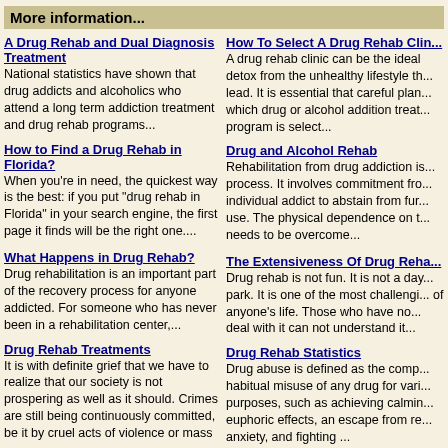More information...
A Drug Rehab and Dual Diagnosis Treatment - National statistics have shown that drug addicts and alcoholics who attend a long term addiction treatment and drug rehab programs...
How To Select A Drug Rehab Clinic - A drug rehab clinic can be the ideal detox from the unhealthy lifestyle they lead. It is essential that careful planning which drug or alcohol addition treatment program is select...
How to Find a Drug Rehab in Florida? - When you're in need, the quickest way is the best: if you put "drug rehab in Florida" in your search engine, the first page it finds will be the right one....
Drug and Alcohol Rehab - Rehabilitation from drug addiction is a process. It involves commitment from the individual addict to abstain from further use. The physical dependence on the needs to be overcome...
What Happens in Drug Rehab? - Drug rehabilitation is an important part of the recovery process for anyone addicted. For someone who has never been in a rehabilitation center,...
The Extensiveness Of Drug Rehab - Drug rehab is not fun. It is not a day park. It is one of the most challenging of anyone's life. Those who have not deal with it can not understand it...
Drug Rehab Treatments - It is with definite grief that we have to realize that our society is not prospering as well as it should. Crimes are still being continuously committed, be it by cruel acts of violence or mass ...
Drug Rehab Statistics - Drug abuse is defined as the compulsive habitual misuse of any drug for various purposes, such as achieving calming or euphoric effects, an escape from reality, anxiety, and fighting ...
Drug Detox Programs and Drug Rehab
How to Choose a Drug Rehab or